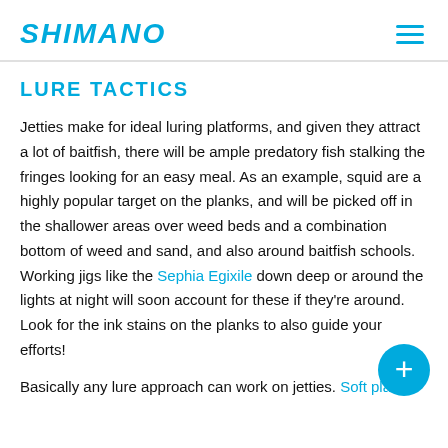SHIMANO
LURE TACTICS
Jetties make for ideal luring platforms, and given they attract a lot of baitfish, there will be ample predatory fish stalking the fringes looking for an easy meal. As an example, squid are a highly popular target on the planks, and will be picked off in the shallower areas over weed beds and a combination bottom of weed and sand, and also around baitfish schools. Working jigs like the Sephia Egixile down deep or around the lights at night will soon account for these if they're around. Look for the ink stains on the planks to also guide your efforts!
Basically any lure approach can work on jetties. Soft plastics are the...